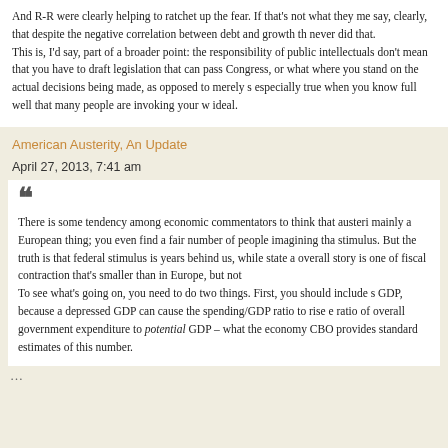And R-R were clearly helping to ratchet up the fear. If that's not what they me say, clearly, that despite the negative correlation between debt and growth th never did that.
This is, I'd say, part of a broader point: the responsibility of public intellectuals don't mean that you have to draft legislation that can pass Congress, or what where you stand on the actual decisions being made, as opposed to merely s especially true when you know full well that many people are invoking your w ideal.
American Austerity, An Update
April 27, 2013, 7:41 am
There is some tendency among economic commentators to think that austeri mainly a European thing; you even find a fair number of people imagining tha stimulus. But the truth is that federal stimulus is years behind us, while state a overall story is one of fiscal contraction that's smaller than in Europe, but not
To see what's going on, you need to do two things. First, you should include s GDP, because a depressed GDP can cause the spending/GDP ratio to rise e ratio of overall government expenditure to potential GDP – what the economy CBO provides standard estimates of this number.